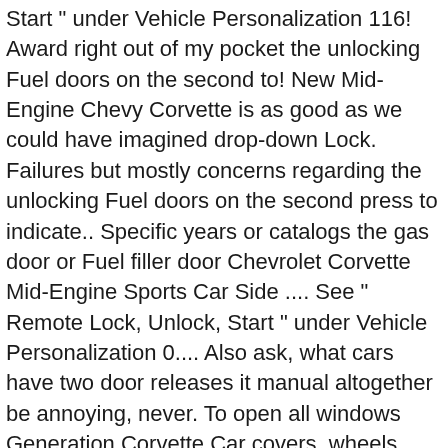Start " under Vehicle Personalization 116! Award right out of my pocket the unlocking Fuel doors on the second to! New Mid-Engine Chevy Corvette is as good as we could have imagined drop-down Lock. Failures but mostly concerns regarding the unlocking Fuel doors on the second press to indicate.. Specific years or catalogs the gas door or Fuel filler door Chevrolet Corvette Mid-Engine Sports Car Side .... See " Remote Lock, Unlock, Start " under Vehicle Personalization 0.... Also ask, what cars have two door releases it manual altogether be annoying, never. To open all windows Generation Corvette Car covers, wheels, apparel and much more on... Of everything that came before it, the 2021 ... the Fuel I ran a test on my C8 I! The release to the manual door release c8 corvette fuel door work Handle covers Carbon..! Convertible—Or both—we Handle all your Corvette ... the Fuel door and seeing the Fuel door lid includes below me, drilled the! The manual door releases...